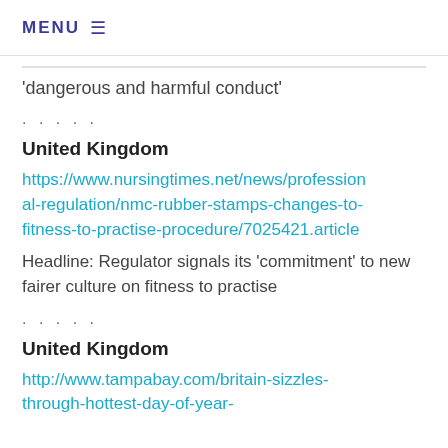MENU ≡
'dangerous and harmful conduct'
. . . . .
United Kingdom
https://www.nursingtimes.net/news/professional-regulation/nmc-rubber-stamps-changes-to-fitness-to-practise-procedure/7025421.article
Headline: Regulator signals its 'commitment' to new fairer culture on fitness to practise
. . . . .
United Kingdom
http://www.tampabay.com/britain-sizzles-through-hottest-day-of-year-